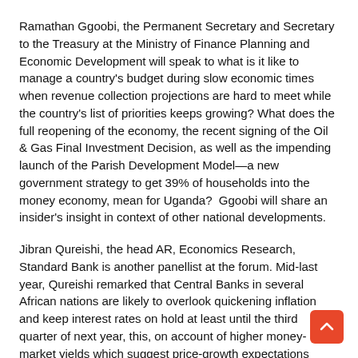Ramathan Ggoobi, the Permanent Secretary and Secretary to the Treasury at the Ministry of Finance Planning and Economic Development will speak to what is it like to manage a country's budget during slow economic times when revenue collection projections are hard to meet while the country's list of priorities keeps growing? What does the full reopening of the economy, the recent signing of the Oil & Gas Final Investment Decision, as well as the impending launch of the Parish Development Model—a new government strategy to get 39% of households into the money economy, mean for Uganda?  Ggoobi will share an insider's insight in context of other national developments.
Jibran Qureishi, the head AR, Economics Research, Standard Bank is another panellist at the forum. Mid-last year, Qureishi remarked that Central Banks in several African nations are likely to overlook quickening inflation and keep interest rates on hold at least until the third quarter of next year, this, on account of higher money-market yields which suggest price-growth expectations would remain put. Is this still the case? What factors are likely to influence central bank monetary policy making in 2022? As a panellist this Friday, Qureishi's informed analysis into African market dynamics is one of the many things for participants to look out for.